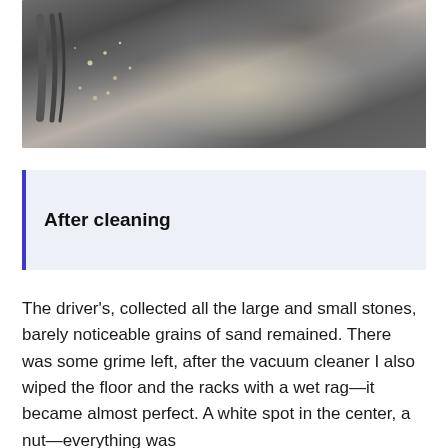[Figure (photo): Close-up photograph of a dirty car floor mat or carpet showing stones, sand grains, and grime on dark grey fibrous material, with a plastic edge trim visible on the left side.]
After cleaning
The driver's, collected all the large and small stones, barely noticeable grains of sand remained. There was some grime left, after the vacuum cleaner I also wiped the floor and the racks with a wet rag—it became almost perfect. A white spot in the center, a nut—everything was